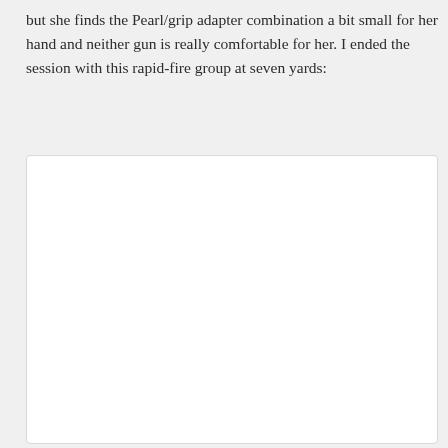but she finds the Pearl/grip adapter combination a bit small for her hand and neither gun is really comfortable for her. I ended the session with this rapid-fire group at seven yards:
[Figure (photo): A white/blank rectangular image box with a light gray border, presumably showing a shooting target or rapid-fire group photo (content not visible).]